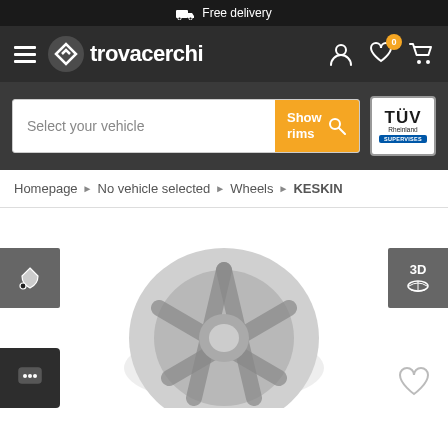Free delivery
[Figure (logo): Trovacerchi logo with hamburger menu and nav icons (user, heart with 0 badge, cart)]
[Figure (screenshot): Search bar with 'Select your vehicle' input, 'Show rims' orange button, and TÜV Rheinland SUPERVISES badge]
Homepage › No vehicle selected › Wheels › KESKIN
[Figure (photo): Partial view of a KESKIN alloy wheel product image with color picker button on left, 3D view button on right, chat button bottom-left, and heart/wishlist icon bottom-right]